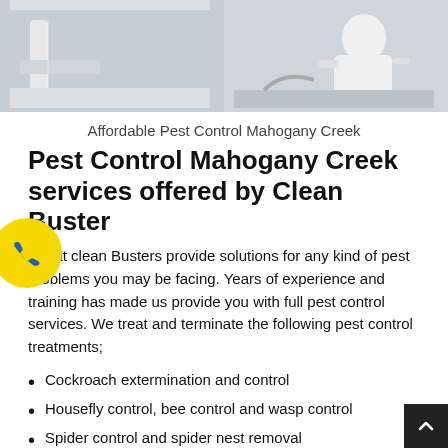[Figure (photo): Two pest control images side by side: left shows a sprayer nozzle near a wall, right shows a pest control worker in white protective gear spraying under furniture]
Affordable Pest Control Mahogany Creek
Pest Control Mahogany Creek services offered by Clean Buster
We at clean Busters provide solutions for any kind of pest problems you may be facing. Years of experience and training has made us provide you with full pest control services. We treat and terminate the following pest control treatments;
Cockroach extermination and control
Housefly control, bee control and wasp control
Spider control and spider nest removal